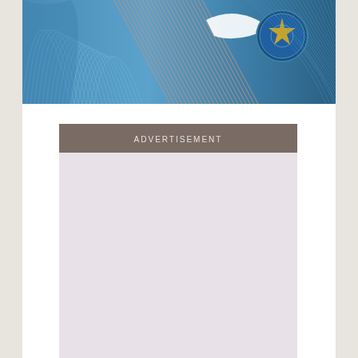[Figure (photo): Close-up photograph of a blue sports jersey with Nike swoosh logo and what appears to be a cricket/sports team badge with a star, featuring striped blue pattern fabric]
ADVERTISEMENT